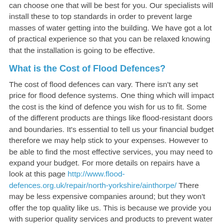can choose one that will be best for you. Our specialists will install these to top standards in order to prevent large masses of water getting into the building. We have got a lot of practical experience so that you can be relaxed knowing that the installation is going to be effective.
What is the Cost of Flood Defences?
The cost of flood defences can vary. There isn't any set price for flood defence systems. One thing which will impact the cost is the kind of defence you wish for us to fit. Some of the different products are things like flood-resistant doors and boundaries. It's essential to tell us your financial budget therefore we may help stick to your expenses. However to be able to find the most effective services, you may need to expand your budget. For more details on repairs have a look at this page http://www.flood-defences.org.uk/repair/north-yorkshire/ainthorpe/ There may be less expensive companies around; but they won't offer the top quality like us. This is because we provide you with superior quality services and products to prevent water getting into your house or commercial space along with effective aftercare services.
Flood Defence Spending in England